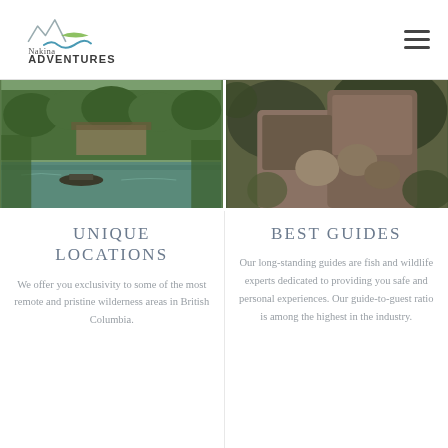[Figure (logo): Nakina Adventures logo with mountain peaks and river/road graphic in grey, green, and blue. Text reads 'Nakina ADVENTURES'.]
[Figure (photo): Photograph of a wilderness waterway with green trees, a dock or lodge structure in the background, and a boat on calm water.]
[Figure (photo): Photograph of hands handling wildlife or a catch in a forested outdoor setting.]
UNIQUE LOCATIONS
We offer you exclusivity to some of the most remote and pristine wilderness areas in British Columbia.
BEST GUIDES
Our long-standing guides are fish and wildlife experts dedicated to providing you safe and personal experiences. Our guide-to-guest ratio is among the highest in the industry.